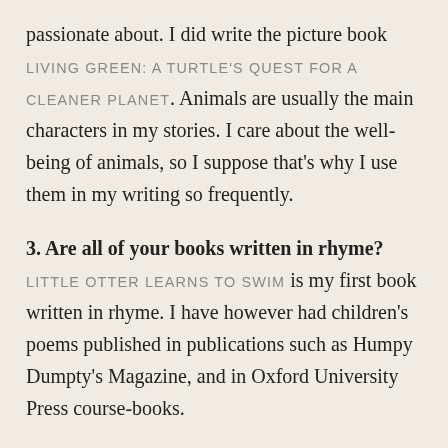passionate about. I did write the picture book LIVING GREEN: A TURTLE'S QUEST FOR A CLEANER PLANET. Animals are usually the main characters in my stories. I care about the well-being of animals, so I suppose that's why I use them in my writing so frequently.
3. Are all of your books written in rhyme? LITTLE OTTER LEARNS TO SWIM is my first book written in rhyme. I have however had children's poems published in publications such as Humpy Dumpty's Magazine, and in Oxford University Press course-books.
4. Do you always work with the same illustrator? If not,